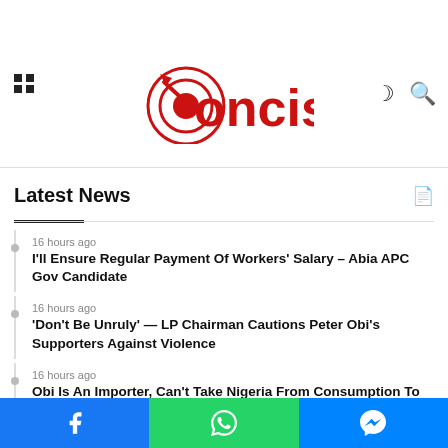[Figure (photo): Partial thumbnail image visible at top-left corner]
Concise (logo with target/dart icon)
Latest News
16 hours ago — I'll Ensure Regular Payment Of Workers' Salary – Abia APC Gov Candidate
16 hours ago — 'Don't Be Unruly' — LP Chairman Cautions Peter Obi's Supporters Against Violence
16 hours ago — Obi Is An Importer, Can't Take Nigeria From Consumption To Production – Alake
Share buttons: Facebook, WhatsApp, Messenger